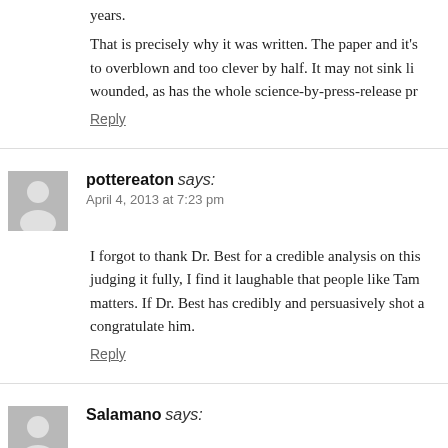years.
That is precisely why it was written. The paper and it's to overblown and too clever by half. It may not sink li wounded, as has the whole science-by-press-release pr
Reply
pottereaton says:
April 4, 2013 at 7:23 pm
I forgot to thank Dr. Best for a credible analysis on this judging it fully, I find it laughable that people like Tam matters. If Dr. Best has credibly and persuasively shot a congratulate him.
Reply
Salamano says: